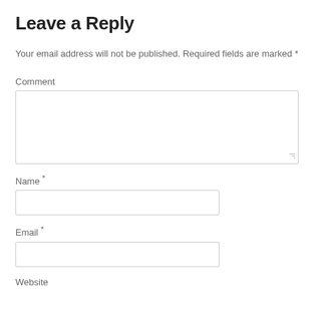Leave a Reply
Your email address will not be published. Required fields are marked *
Comment
Name *
Email *
Website